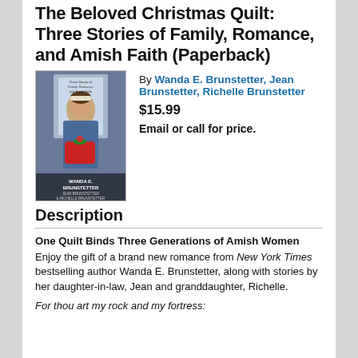The Beloved Christmas Quilt: Three Stories of Family, Romance, and Amish Faith (Paperback)
[Figure (photo): Book cover of The Beloved Christmas Quilt showing an Amish woman in blue dress holding a red decorated quilt, with text 'Three Stories of Family, Romance, and Amish Faith' and authors Wanda E. Brunstetter, Jean Brunstetter, Richelle Brunstetter]
By Wanda E. Brunstetter, Jean Brunstetter, Richelle Brunstetter
$15.99
Email or call for price.
Description
One Quilt Binds Three Generations of Amish Women
Enjoy the gift of a brand new romance from New York Times bestselling author Wanda E. Brunstetter, along with stories by her daughter-in-law, Jean and granddaughter, Richelle.
For thou art my rock and my fortress: